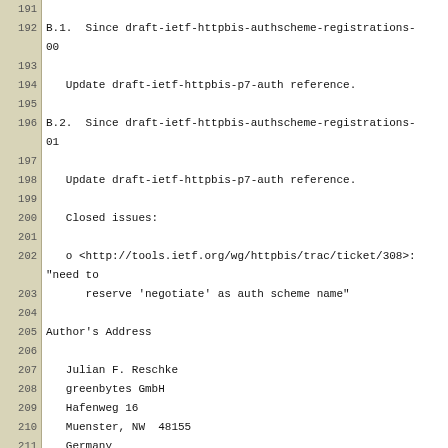191 (empty)
192 B.1.  Since draft-ietf-httpbis-authscheme-registrations-00
193 (empty)
194    Update draft-ietf-httpbis-p7-auth reference.
195 (empty)
196 B.2.  Since draft-ietf-httpbis-authscheme-registrations-01
197 (empty)
198    Update draft-ietf-httpbis-p7-auth reference.
199 (empty)
200    Closed issues:
201 (empty)
202    o <http://tools.ietf.org/wg/httpbis/trac/ticket/308>:
         "need to
            reserve 'negotiate' as auth scheme name"
203            reserve 'negotiate' as auth scheme name"
204 (empty)
205 Author's Address
206 (empty)
207    Julian F. Reschke
208    greenbytes GmbH
209    Hafenweg 16
210    Muenster, NW  48155
211    Germany
212 (empty)
213    EMail: julian.reschke@greenbytes.de
214    URI:   http://greenbytes.de/tech/webdav/
215-220 (empty)